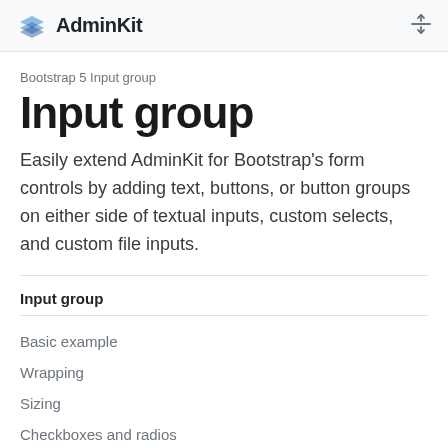AdminKit
Bootstrap 5 Input group
Input group
Easily extend AdminKit for Bootstrap's form controls by adding text, buttons, or button groups on either side of textual inputs, custom selects, and custom file inputs.
Input group
Basic example
Wrapping
Sizing
Checkboxes and radios